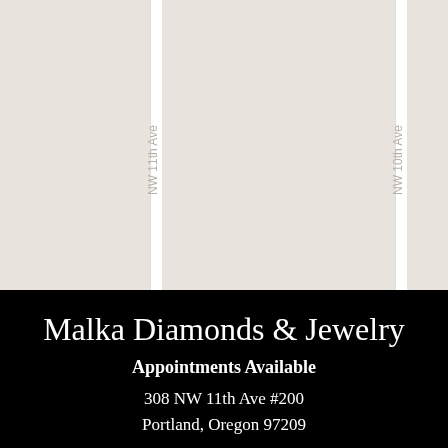[Figure (map): Street map showing NW 11th Ave and NW 10th Ave in Portland, Oregon, with light beige background and white road lines. Street names appear as vertical rotated labels.]
Malka Diamonds & Jewelry
Appointments Available
308 NW 11th Ave #200
Portland, Oregon 97209
Tuesday - Saturday: 10AM - 4PM
Call 503-850-0133 to schedule